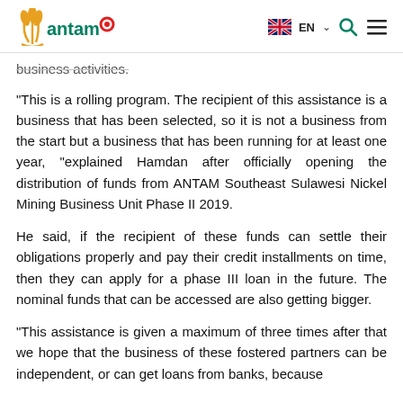ANTAM logo | EN | Search | Menu
business activities.
"This is a rolling program. The recipient of this assistance is a business that has been selected, so it is not a business from the start but a business that has been running for at least one year, "explained Hamdan after officially opening the distribution of funds from ANTAM Southeast Sulawesi Nickel Mining Business Unit Phase II 2019.
He said, if the recipient of these funds can settle their obligations properly and pay their credit installments on time, then they can apply for a phase III loan in the future. The nominal funds that can be accessed are also getting bigger.
"This assistance is given a maximum of three times after that we hope that the business of these fostered partners can be independent, or can get loans from banks, because